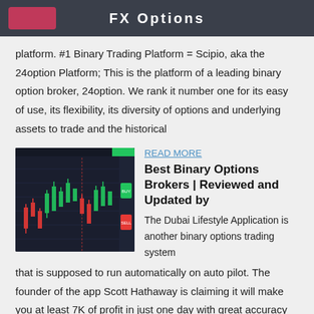FX Options
platform. #1 Binary Trading Platform = Scipio, aka the 24option Platform; This is the platform of a leading binary option broker, 24option. We rank it number one for its easy of use, its flexibility, its diversity of options and underlying assets to trade and the historical
[Figure (screenshot): Screenshot of a binary options trading chart interface showing candlestick chart with red and green candles on a dark background]
READ MORE
Best Binary Options Brokers | Reviewed and Updated by
The Dubai Lifestyle Application is another binary options trading system that is supposed to run automatically on auto pilot. The founder of the app Scott Hathaway is claiming it will make you at least 7K of profit in just one day with great accuracy for trades that are successful.